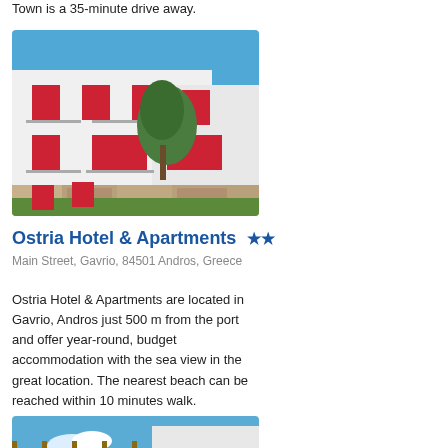Town is a 35-minute drive away.
[Figure (photo): White building with red shutters and balconies, Greek island hotel exterior with trees and stone wall]
Ostria Hotel & Apartments ★★
Main Street, Gavrio, 84501 Andros, Greece
Ostria Hotel & Apartments are located in Gavrio, Andros just 500 m from the port and offer year-round, budget accommodation with the sea view in the great location. The nearest beach can be reached within 10 minutes walk.
[Figure (photo): Exterior of hotel building with wooden pergola structure, blue sky, white building facade]